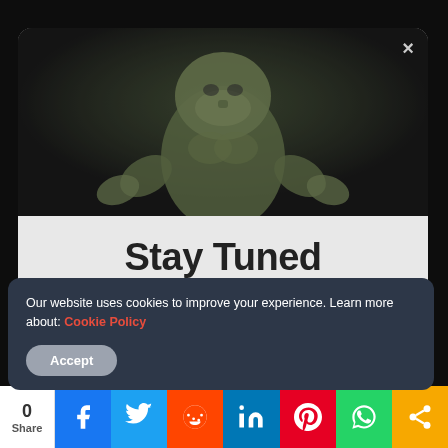[Figure (photo): Modal popup showing a green monster/creature figure (3D rendered or toy) against a dark background, with a close (×) button in the top right corner.]
Stay Tuned
Subscribe our newsletter and never miss our latest news ...
your e-mail
Subscribe
By signing up, you are agreeing to our terms.
Our website uses cookies to improve your experience. Learn more about: Cookie Policy
Accept
0
Share